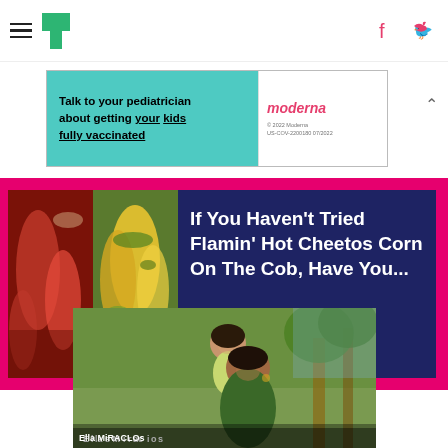HuffPost navigation with hamburger menu, logo, Facebook and Twitter icons
[Figure (other): Moderna advertisement banner: teal background with text 'Talk to your pediatrician about getting your kids fully vaccinated' and Moderna logo on white background with disclaimer text]
[Figure (photo): Featured article block on dark blue background with two food photos (red/Flamin' Hot Cheetos corn and yellow corn on the cob) and article title 'If You Haven't Tried Flamin' Hot Cheetos Corn On The Cob, Have You...' on hot pink background]
[Figure (photo): Photo of a woman smiling and holding a young child outdoors, partially visible at bottom of page]